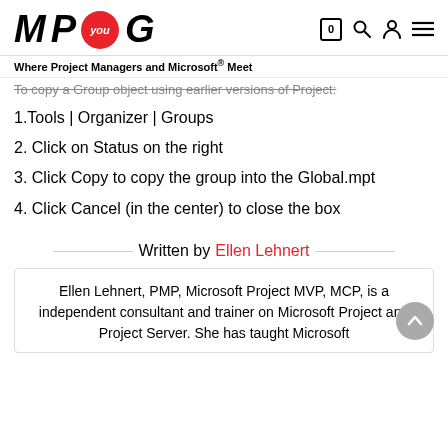MP you G — Where Project Managers and Microsoft® Meet
To copy a Group object using earlier versions of Project:
1.Tools | Organizer | Groups
2. Click on Status on the right
3. Click Copy to copy the group into the Global.mpt
4. Click Cancel (in the center) to close the box
Written by Ellen Lehnert
Ellen Lehnert, PMP, Microsoft Project MVP, MCP, is a independent consultant and trainer on Microsoft Project and Project Server. She has taught Microsoft